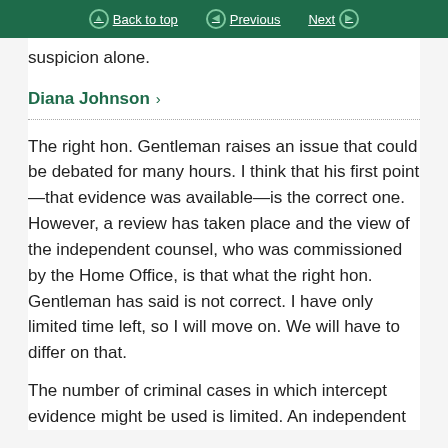Back to top  Previous  Next
suspicion alone.
Diana Johnson
The right hon. Gentleman raises an issue that could be debated for many hours. I think that his first point—that evidence was available—is the correct one. However, a review has taken place and the view of the independent counsel, who was commissioned by the Home Office, is that what the right hon. Gentleman has said is not correct. I have only limited time left, so I will move on. We will have to differ on that.
The number of criminal cases in which intercept evidence might be used is limited. An independent